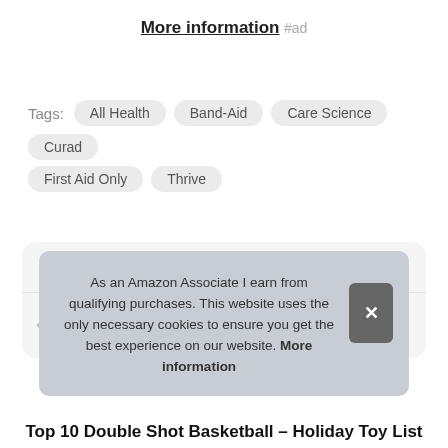More information #ad
Tags: All Health  Band-Aid  Care Science  Curad  First Aid Only  Thrive
Top 10 Aimpoint Micro T-2 – Gun Sights
Top 10 Hoverboard for Kids Ages 6-12 Boys Unde...
As an Amazon Associate I earn from qualifying purchases. This website uses the only necessary cookies to ensure you get the best experience on our website. More information
Top 10 Double Shot Basketball – Holiday Toy List